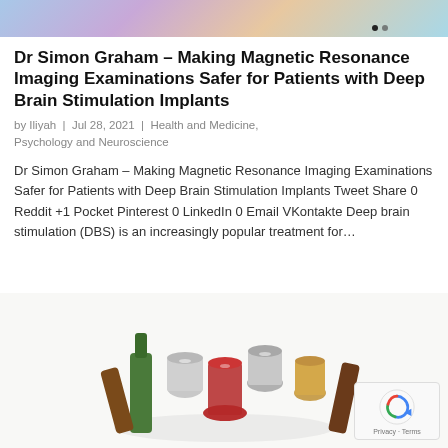[Figure (photo): Partial top image — colorful abstract or medical brain imagery with navigation dots]
Dr Simon Graham – Making Magnetic Resonance Imaging Examinations Safer for Patients with Deep Brain Stimulation Implants
by Iliyah | Jul 28, 2021 | Health and Medicine, Psychology and Neuroscience
Dr Simon Graham – Making Magnetic Resonance Imaging Examinations Safer for Patients with Deep Brain Stimulation Implants Tweet Share 0 Reddit +1 Pocket Pinterest 0 LinkedIn 0 Email VKontakte Deep brain stimulation (DBS) is an increasingly popular treatment for…
[Figure (photo): Cluster of colorful wine glasses and bottles piled together — decorative image for another article]